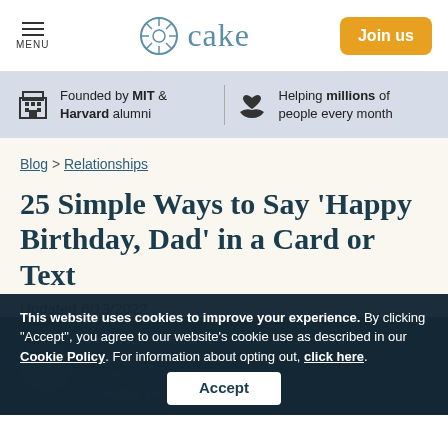MENU | cake | Join us
Founded by MIT & Harvard alumni | Helping millions of people every month
Blog > Relationships
25 Simple Ways to Say ‘Happy Birthday, Dad’ in a Card or Text
Updated 6/13/2022
Amy Wolkenhauer, BA in English/Creative Writing | Contributing writer | Author bio | Follow
This website uses cookies to improve your experience. By clicking "Accept", you agree to our website's cookie use as described in our Cookie Policy. For information about opting out, click here. Accept